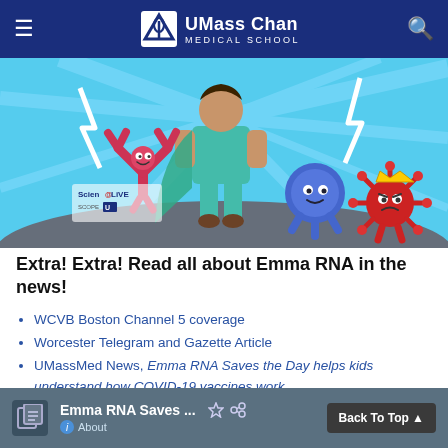UMass Chan Medical School
[Figure (illustration): Cartoon illustration showing a superhero medical figure in teal scrubs with a cape, flanked by an antibody character (Y-shaped, pink/red), a smiling blue cell character, and a red virus character with a crown. Light blue background with sunburst rays. ScienceLIVE and SCOPE logos visible in lower left.]
Extra! Extra! Read all about Emma RNA in the news!
WCVB Boston Channel 5 coverage
Worcester Telegram and Gazette Article
UMassMed News, Emma RNA Saves the Day helps kids understand how COVID-19 vaccines work
MSN
4State News
UMassMed News, Emma RNA goes to WPS
Emma RNA Saves ... About  Back To Top ▲